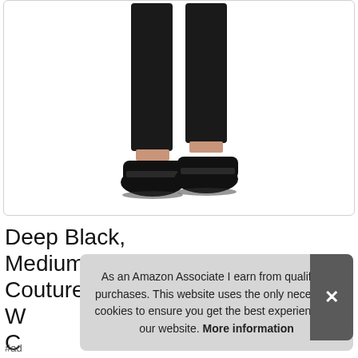[Figure (photo): Product photo showing lower body of a person wearing black leggings and black slip-on sneakers against a white background]
Deep Black, Medium, Juicy Couture Wo Co
As an Amazon Associate I earn from qualifying purchases. This website uses the only necessary cookies to ensure you get the best experience on our website. More information
#ad